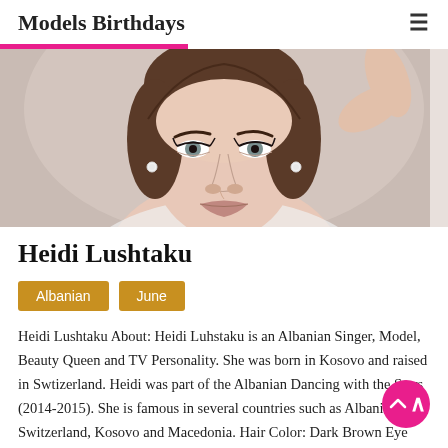Models Birthdays
[Figure (photo): Portrait photo of Heidi Lushtaku, a young woman with dark brown hair pulled back, grey eyes, and pearl earrings, shown from the shoulders up against a light background.]
Heidi Lushtaku
Albanian
June
Heidi Lushtaku About: Heidi Luhstaku is an Albanian Singer, Model, Beauty Queen and TV Personality. She was born in Kosovo and raised in Swtizerland. Heidi was part of the Albanian Dancing with the Stars (2014-2015). She is famous in several countries such as Albania, Switzerland, Kosovo and Macedonia. Hair Color: Dark Brown Eye Color: Grey Height: 5'8"; 173 cm Weight: [...]